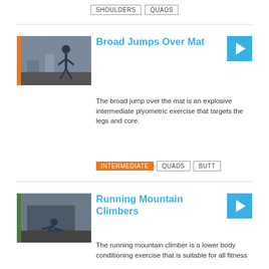SHOULDERS  QUADS
[Figure (photo): Person performing broad jumps in a gym with orange bar on left side of thumbnail]
Broad Jumps Over Mat
The broad jump over the mat is an explosive intermediate plyometric exercise that targets the legs and core.
INTERMEDIATE  QUADS  BUTT
[Figure (photo): Person performing running mountain climbers in a gym with green bar on left side of thumbnail]
Running Mountain Climbers
The running mountain climber is a lower body conditioning exercise that is suitable for all fitness levels.